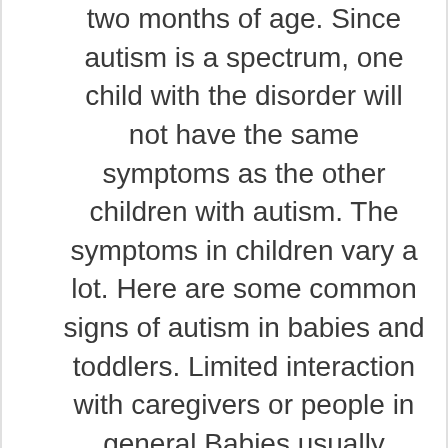two months of age. Since autism is a spectrum, one child with the disorder will not have the same symptoms as the other children with autism. The symptoms in children vary a lot. Here are some common signs of autism in babies and toddlers. Limited interaction with caregivers or people in general Babies usually interact with their [...]